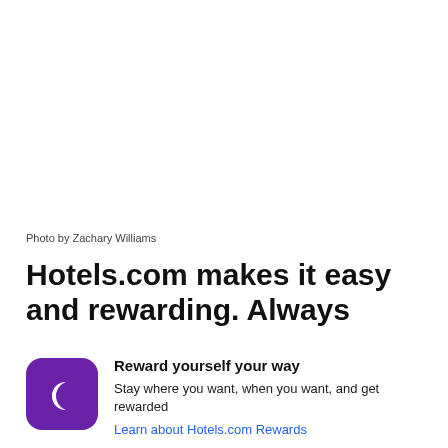[Figure (photo): Large white/blank photo area occupying the top portion of the page]
Photo by Zachary Williams
Hotels.com makes it easy and rewarding. Always
[Figure (logo): Purple rounded square icon with a crescent moon symbol representing Hotels.com Rewards]
Reward yourself your way
Stay where you want, when you want, and get rewarded
Learn about Hotels.com Rewards